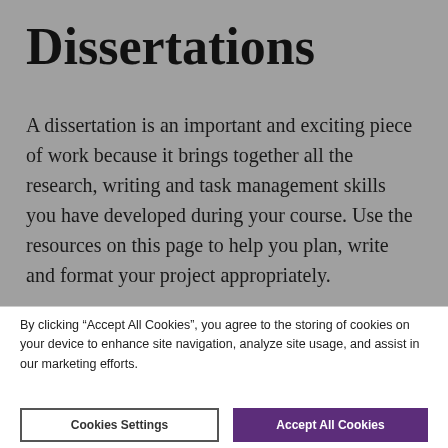Dissertations
A dissertation is an important and exciting piece of work because it brings together all the research, writing and task management skills you have developed during your course. Use the resources on this page to help you plan, write and format your project appropriately.
By clicking “Accept All Cookies”, you agree to the storing of cookies on your device to enhance site navigation, analyze site usage, and assist in our marketing efforts.
Cookies Settings | Accept All Cookies